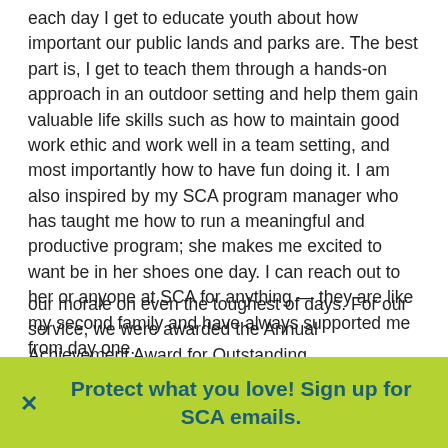each day I get to educate youth about how important our public lands and parks are. The best part is, I get to teach them through a hands-on approach in an outdoor setting and help them gain valuable life skills such as how to maintain good work ethic and work well in a team setting, and most importantly how to have fun doing it. I am also inspired by my SCA program manager who has taught me how to run a meaningful and productive program; she makes me excited to want be in her shoes one day. I can reach out to her or anyone at SCA for anything — they are like my second family and have always supported me from day one.
Tell us about one of your favorite service experiences.
One of my favorite service experiences with SCA was accomplishing the laborious and fulfilling task of building three bridges in Rock Creek Park, and later being recognized by the Coalition for Recreational Trails. The most memorable part of building those bridges was the gratitude expressed by the
our morale on even the toughest of days. For our service, we were awarded the Annual Achievement Award for Outstanding
Protect what you love! Sign up for SCA emails.